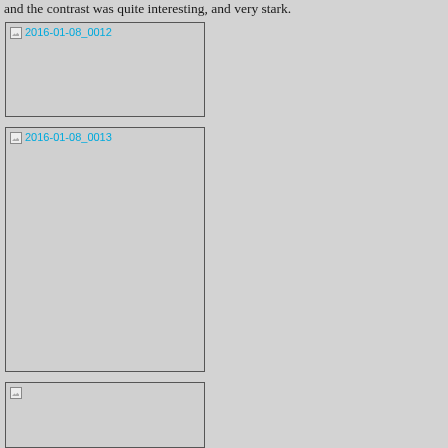and the contrast was quite interesting, and very stark.
[Figure (photo): Image placeholder: 2016-01-08_0012]
[Figure (photo): Image placeholder: 2016-01-08_0013]
[Figure (photo): Image placeholder (partially visible at bottom)]